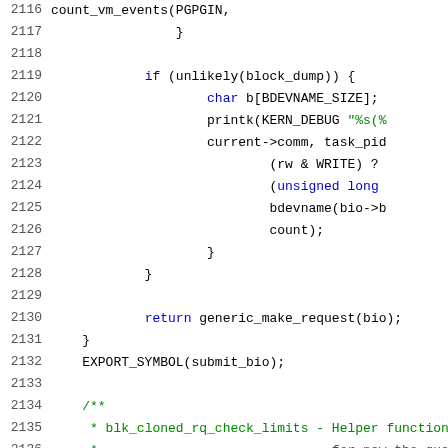[Figure (screenshot): Source code listing showing C kernel code lines 2116-2137, with line numbers on the left and syntax-highlighted code on the right. Keywords in blue, strings in green, identifiers in black, comments in green.]